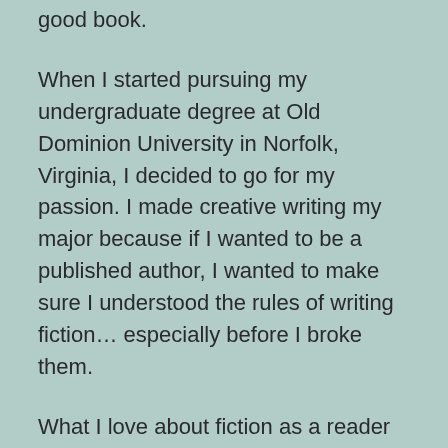good book.
When I started pursuing my undergraduate degree at Old Dominion University in Norfolk, Virginia, I decided to go for my passion. I made creative writing my major because if I wanted to be a published author, I wanted to make sure I understood the rules of writing fiction... especially before I broke them.
What I love about fiction as a reader is the way authors break from the norm and do what they want to tell a compelling story, almost like when a TV show breaks that “fourth wall” to engage the viewers. In school, teachers and professors repeatedly advised against “head hopping,” which means going from telling a story strictly from one character’s point of view to jumping into the head of another character in